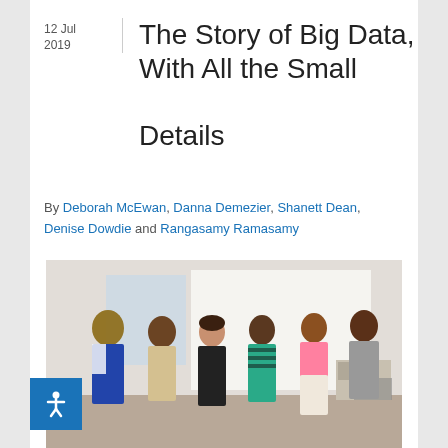12 Jul 2019
The Story of Big Data, With All the Small Details
By Deborah McEwan, Danna Demezier, Shanett Dean, Denise Dowdie and Rangasamy Ramasamy
[Figure (photo): Group photo of six people (two men and four women) standing together in a classroom or meeting room with a whiteboard in the background.]